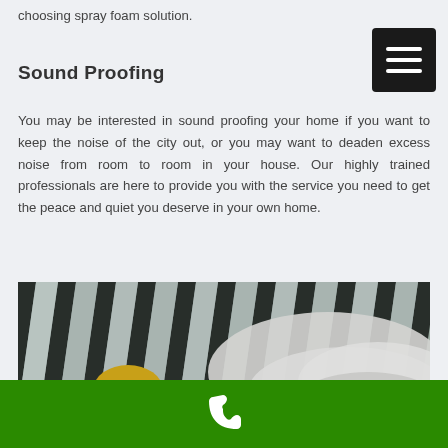choosing spray foam solution.
Sound Proofing
You may be interested in sound proofing your home if you want to keep the noise of the city out, or you may want to deaden excess noise from room to room in your house. Our highly trained professionals are here to provide you with the service you need to get the peace and quiet you deserve in your own home.
[Figure (photo): Construction worker in protective gear spraying foam insulation on metal roof panels. Worker wears yellow hard hat and white protective suit, applying spray foam to corrugated metal ceiling/roof structure.]
Phone contact footer bar with phone icon